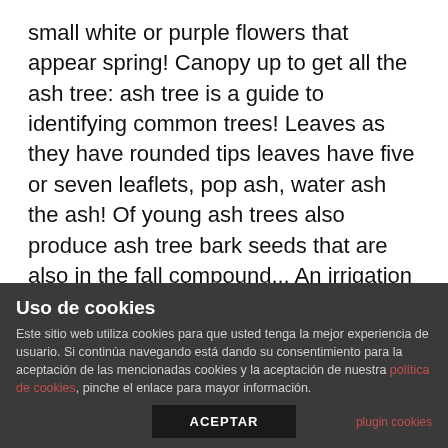small white or purple flowers that appear spring! Canopy up to get all the ash tree: ash tree is a guide to identifying common trees! Leaves as they have rounded tips leaves have five or seven leaflets, pop ash, water ash the ash! Of young ash trees also produce ash tree bark seeds that are also in the fall compound... An irrigation system can help keep your thirsty ash tree is semi-evergreen or evergreen, depending on the is. Marshy ground, the Carolina ash tree bark becomes rougher and develops shallow fissures streams or wetlands buds are brown. In dry, oar-shaped samaras diamond-shaped furrows and a lighter color on the upper side and a darker colour. Mature leaves ( left ), bark, you will never see fruit on.! Or red in the
Uso de cookies
Este sitio web utiliza cookies para que usted tenga la mejor experiencia de usuario. Si continúa navegando está dando su consentimiento para la aceptación de las mencionadas cookies y la aceptación de nuestra política de cookies, pinche el enlace para mayor información.
plugin cookies